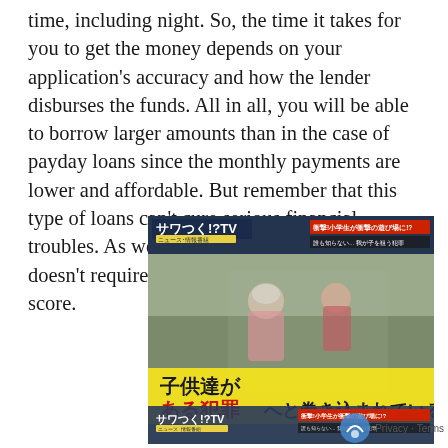time, including night. So, the time it takes for you to get the money depends on your application's accuracy and how the lender disburses the funds. All in all, you will be able to borrow larger amounts than in the case of payday loans since the monthly payments are lower and affordable. But remember that this type of loans can't cure serious financial troubles. As we said before, this type of loans doesn't require you to have a perfect credit score.
[Figure (photo): Japanese TV news screenshot showing two blurred figures outdoors with yellow banner text in Japanese reading '子供達がある犯罪へと巻き込まれている' (Children are being involved in a certain crime). The TV program logo 'サワつく!?TV' and Japanese headline text appear at top and bottom.]